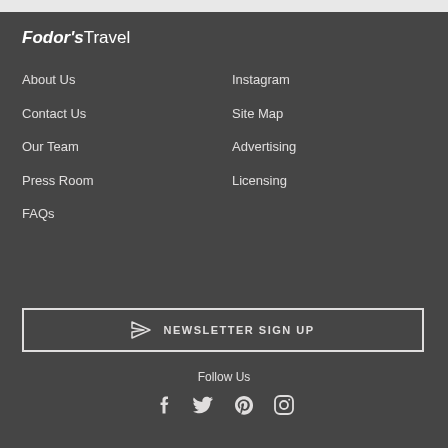Fodor's Travel
About Us
Instagram
Contact Us
Site Map
Our Team
Advertising
Press Room
Licensing
FAQs
NEWSLETTER SIGN UP
Follow Us
[Figure (illustration): Social media icons: Facebook, Twitter, Pinterest, Instagram]